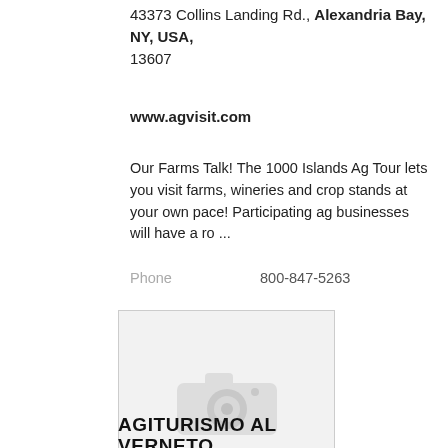43373 Collins Landing Rd., Alexandria Bay, NY, USA, 13607
www.agvisit.com
Our Farms Talk! The 1000 Islands Ag Tour lets you visit farms, wineries and crop stands at your own pace! Participating ag businesses will have a ro ...
Phone   800-847-5263
[Figure (photo): Placeholder image with a camera icon on a light grey background]
AGITURISMO AL VERNETO